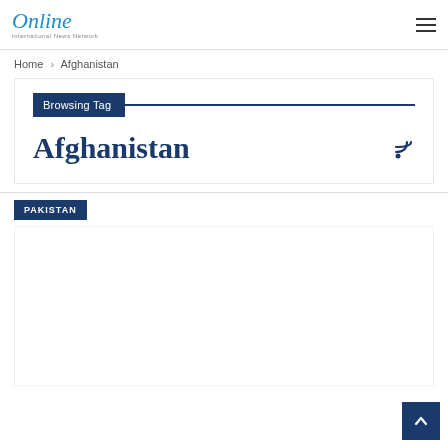Online International News Network
Home > Afghanistan
Browsing Tag
Afghanistan
PAKISTAN